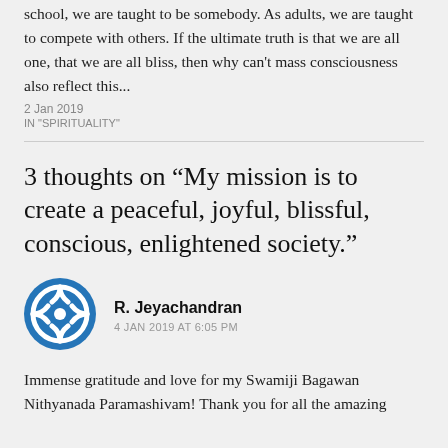school, we are taught to be somebody. As adults, we are taught to compete with others. If the ultimate truth is that we are all one, that we are all bliss, then why can't mass consciousness also reflect this...
2 Jan 2019
IN "SPIRITUALITY"
3 thoughts on “My mission is to create a peaceful, joyful, blissful, conscious, enlightened society.”
R. Jeyachandran
4 JAN 2019 AT 6:05 PM
Immense gratitude and love for my Swamiji Bagawan Nithyanada Paramashivam! Thank you for all the amazing